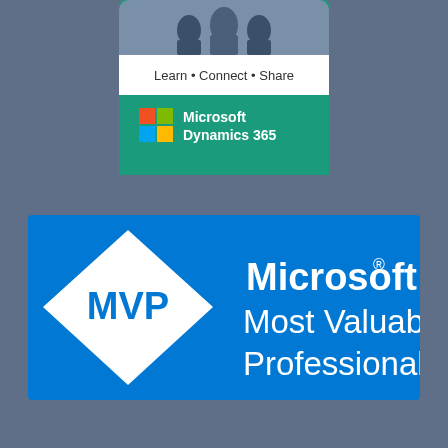[Figure (logo): Microsoft Dynamics 365 community card with 'Learn • Connect • Share' text and Microsoft Dynamics 365 logo on a teal/green background, partially visible at top]
[Figure (logo): Microsoft MVP (Most Valuable Professional) logo banner on blue background. Diamond shape with MVP text on left, 'Microsoft® Most Valuable Professional' text on right in white.]